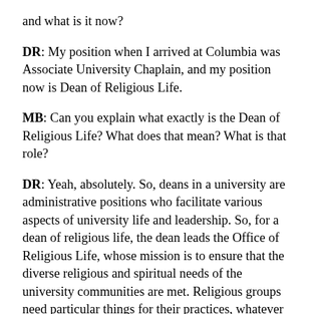and what is it now?
DR: My position when I arrived at Columbia was Associate University Chaplain, and my position now is Dean of Religious Life.
MB: Can you explain what exactly is the Dean of Religious Life? What does that mean? What is that role?
DR: Yeah, absolutely. So, deans in a university are administrative positions who facilitate various aspects of university life and leadership. So, for a dean of religious life, the dean leads the Office of Religious Life, whose mission is to ensure that the diverse religious and spiritual needs of the university communities are met. Religious groups need particular things for their practices, whatever they may be: spaces for prayer, spaces for meditation, spaces to convene and gather. And so